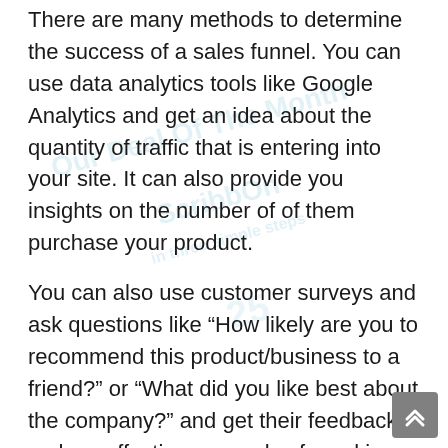There are many methods to determine the success of a sales funnel. You can use data analytics tools like Google Analytics and get an idea about the quantity of traffic that is entering into your site. It can also provide you insights on the number of of them purchase your product.
You can also use customer surveys and ask questions like “How likely are you to recommend this product/business to a friend?” or “What did you like best about the company?” and get their feedback on how effective your sales funnel is.
A fantastic method to measure the success of your sales funnel is to track your conversion rates.
There are numerous signs that can assist you measure the success of your sales funnel. One of the most crucial ones is your conversion rates. These rates show how numerous leads become